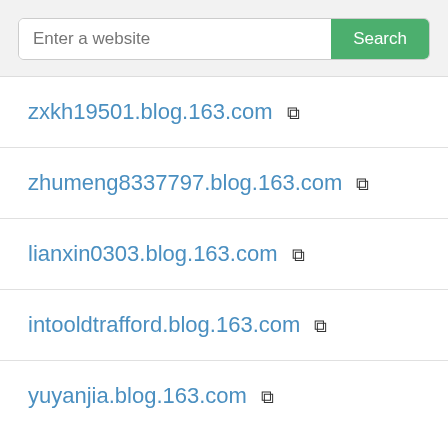[Figure (screenshot): Search bar with placeholder text 'Enter a website' and a green 'Search' button]
zxkh19501.blog.163.com
zhumeng8337797.blog.163.com
lianxin0303.blog.163.com
intooldtrafford.blog.163.com
yuyanjia.blog.163.com